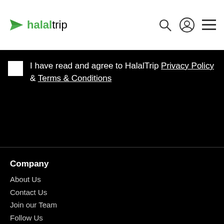[Figure (logo): HalalTrip logo: green paper airplane icon followed by 'halal' in green bold and 'trip' in black text]
I have read and agree to HalalTrip Privacy Policy & Terms & Conditions
Company
About Us
Contact Us
Join our Team
Follow Us
Advertise with us
Privacy Policy
Terms & Conditions
Feedback
Site Map